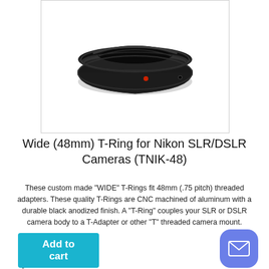[Figure (photo): Black aluminum T-Ring camera adapter ring with red alignment dot, viewed from slightly above, showing threaded exterior and interior rings]
Wide (48mm) T-Ring for Nikon SLR/DSLR Cameras (TNIK-48)
These custom made "WIDE" T-Rings fit 48mm (.75 pitch) threaded adapters. These quality T-Rings are CNC machined of aluminum with a durable black anodized finish. A "T-Ring" couples your SLR or DSLR camera body to a T-Adapter or other "T" threaded camera mount.
$29.95
Add to cart